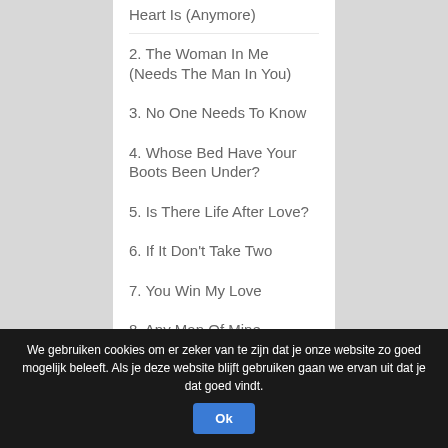Heart Is (Anymore)
2. The Woman In Me (Needs The Man In You)
3. No One Needs To Know
4. Whose Bed Have Your Boots Been Under?
5. Is There Life After Love?
6. If It Don't Take Two
7. You Win My Love
8. Any Man Of Mine
9. Raining On Our Love
10. (If You're Not In It For
We gebruiken cookies om er zeker van te zijn dat je onze website zo goed mogelijk beleeft. Als je deze website blijft gebruiken gaan we ervan uit dat je dat goed vindt.